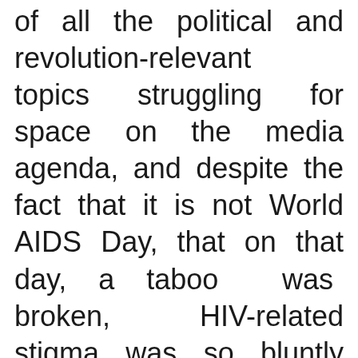of all the political and revolution-relevant topics struggling for space on the media agenda, and despite the fact that it is not World AIDS Day, that on that day, a taboo was broken, HIV-related stigma was so bluntly put on the press agenda, and a star was born.